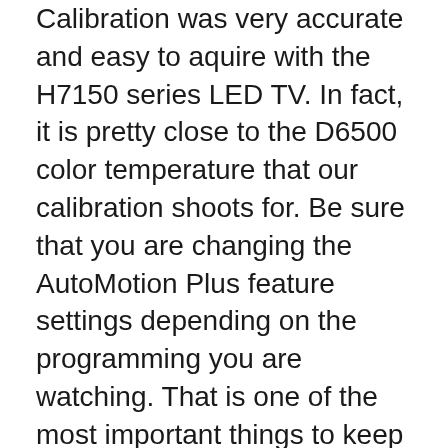Calibration was very accurate and easy to aquire with the H7150 series LED TV. In fact, it is pretty close to the D6500 color temperature that our calibration shoots for. Be sure that you are changing the AutoMotion Plus feature settings depending on the programming you are watching. That is one of the most important things to keep in mind.
Samsung UN60J620D 6 Series - 60" LED TV overview and full product specs on CNET. 15/06/2013B B· Hello, we have a 32 inch Samsung flat screen that won't turn on. There is a black screen and the led light is on,no picture or sound, it won't respond manuel or with the remote. The led light is вЂ¦